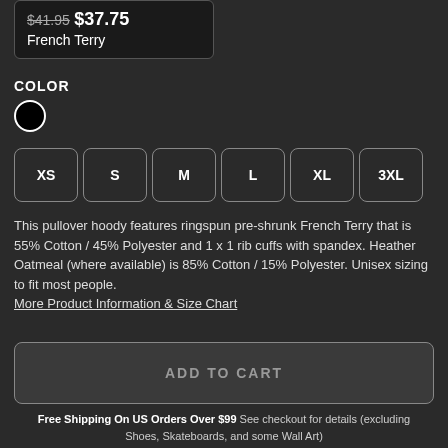$41.95 $37.75 French Terry
COLOR
[Figure (other): Black color swatch circle with white border]
XS
S
M
L
XL
3XL
This pullover hoody features ringspun pre-shrunk French Terry that is 55% Cotton / 45% Polyester and 1 x 1 rib cuffs with spandex. Heather Oatmeal (where available) is 85% Cotton / 15% Polyester. Unisex sizing to fit most people. More Product Information & Size Chart
ADD TO CART
Free Shipping On US Orders Over $99 See checkout for details (excluding Shoes, Skateboards, and some Wall Art)